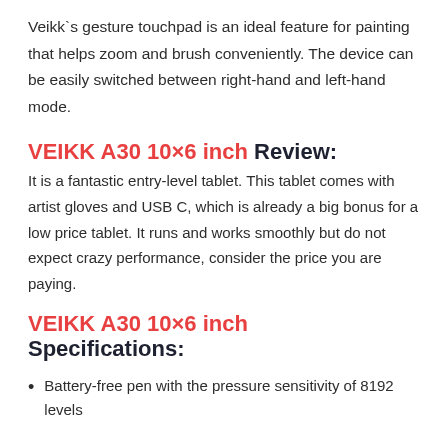Veikk`s gesture touchpad is an ideal feature for painting that helps zoom and brush conveniently. The device can be easily switched between right-hand and left-hand mode.
VEIKK A30 10×6 inch Review:
It is a fantastic entry-level tablet. This tablet comes with artist gloves and USB C, which is already a big bonus for a low price tablet. It runs and works smoothly but do not expect crazy performance, consider the price you are paying.
VEIKK A30 10×6 inch Specifications:
Battery-free pen with the pressure sensitivity of 8192 levels